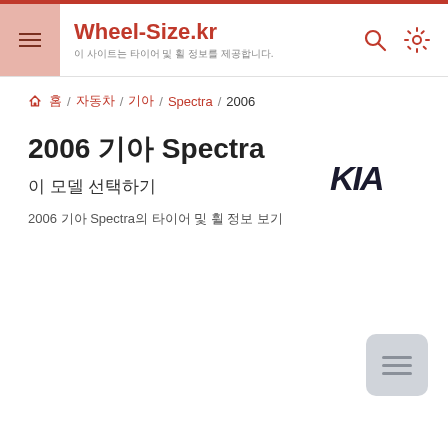Wheel-Size.kr — 이 사이트는 타이어 및 휠 정보를 제공합니다.
🏠 홈 / 자동차 / 기아 / Spectra / 2006
2006 기아 Spectra
이 모델 선택하기
2006 기아 Spectra의 타이어 및 휠 정보 보기